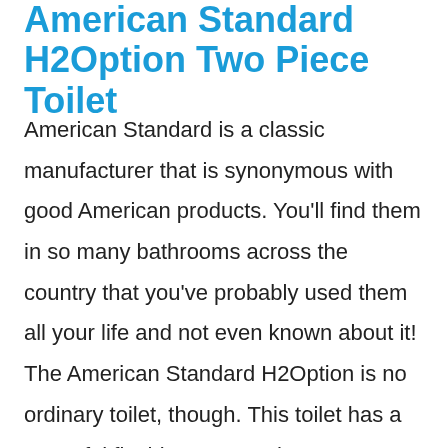American Standard H2Option Two Piece Toilet
American Standard is a classic manufacturer that is synonymous with good American products. You'll find them in so many bathrooms across the country that you've probably used them all your life and not even known about it! The American Standard H2Option is no ordinary toilet, though. This toilet has a powerful flushing system that counteracts the low flow of your current water pressure and helps to remove your waste without